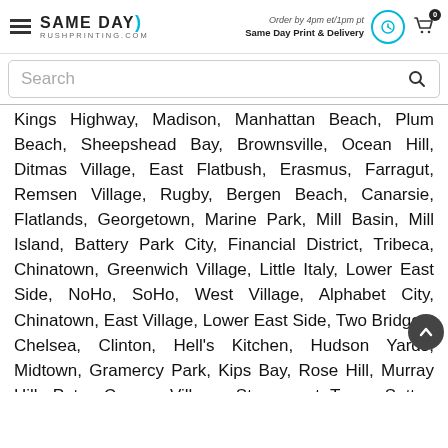Same Day RushPrinting.com — Order by 4pm et/1pm pt — Same Day Print & Delivery
Search
Kings Highway, Madison, Manhattan Beach, Plum Beach, Sheepshead Bay, Brownsville, Ocean Hill, Ditmas Village, East Flatbush, Erasmus, Farragut, Remsen Village, Rugby, Bergen Beach, Canarsie, Flatlands, Georgetown, Marine Park, Mill Basin, Mill Island, Battery Park City, Financial District, Tribeca, Chinatown, Greenwich Village, Little Italy, Lower East Side, NoHo, SoHo, West Village, Alphabet City, Chinatown, East Village, Lower East Side, Two Bridges, Chelsea, Clinton, Hell's Kitchen, Hudson Yards, Midtown, Gramercy Park, Kips Bay, Rose Hill, Murray Hill, Peter Cooper Village, Stuyvesant Town, Sutton Place, Tudor City, Turtle Bay, Waterside Plaza, Lincoln Square, Manhattan Valley, Upper West Side, Lenox Hill, Roosevelt Island, Upper East Side